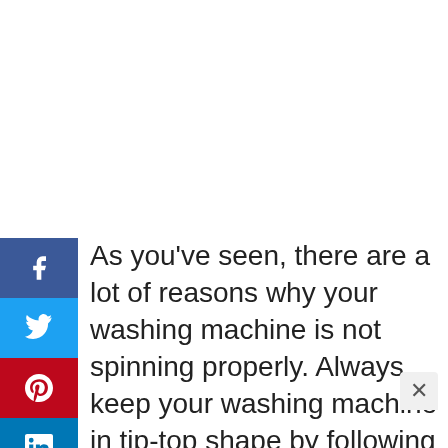[Figure (other): Social media share buttons sidebar: Facebook (blue), Twitter (light blue), Pinterest (red), LinkedIn (blue), Reddit (orange), Email (light blue)]
As you've seen, there are a lot of reasons why your washing machine is not spinning properly. Always keep your washing machine in tip-top shape by following best practices while doing the laundry. You should also have your washing machine checked by a technician for preventive